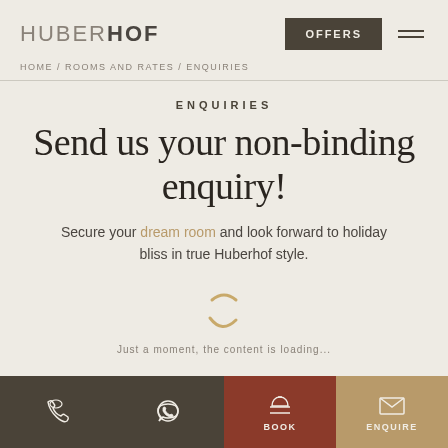HUBERHOF
HOME / ROOMS AND RATES / ENQUIRIES
ENQUIRIES
Send us your non-binding enquiry!
Secure your dream room and look forward to holiday bliss in true Huberhof style.
[Figure (other): Loading spinner animation — two curved arc shapes in gold/tan color forming a partial circle]
Just a moment, the content is loading...